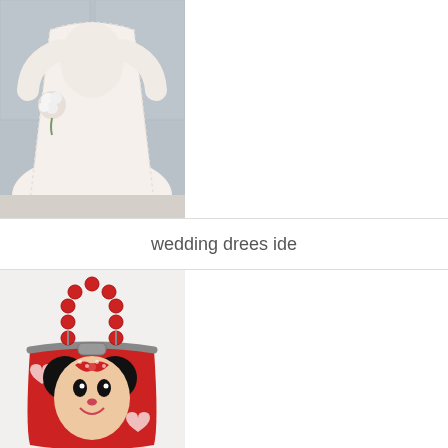[Figure (photo): A woman in a white lace wedding dress holding a bouquet, from chest/waist area down, against a light gray wall background.]
wedding drees ide
[Figure (photo): A red Minnie Mouse themed handbag/purse cake with beaded handle, Minnie Mouse face and polka-dot bow, sitting on a pink base.]
30 Minnie Mouse Handbag ideas 28